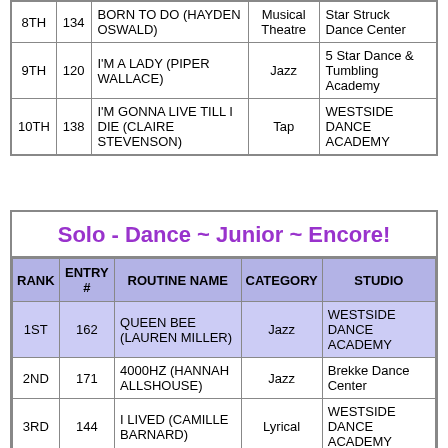| RANK | ENTRY # | ROUTINE NAME | CATEGORY | STUDIO |
| --- | --- | --- | --- | --- |
| 8TH | 134 | BORN TO DO (HAYDEN OSWALD) | Musical Theatre | Star Struck Dance Center |
| 9TH | 120 | I'M A LADY (PIPER WALLACE) | Jazz | 5 Star Dance & Tumbling Academy |
| 10TH | 138 | I'M GONNA LIVE TILL I DIE (CLAIRE STEVENSON) | Tap | WESTSIDE DANCE ACADEMY |
Solo - Dance ~ Junior ~ Encore!
| RANK | ENTRY # | ROUTINE NAME | CATEGORY | STUDIO |
| --- | --- | --- | --- | --- |
| 1ST | 162 | QUEEN BEE (LAUREN MILLER) | Jazz | WESTSIDE DANCE ACADEMY |
| 2ND | 171 | 4000HZ (HANNAH ALLSHOUSE) | Jazz | Brekke Dance Center |
| 3RD | 144 | I LIVED (CAMILLE BARNARD) | Lyrical | WESTSIDE DANCE ACADEMY |
|  |  | TENS (HALLE |  | Ankeny Dance and |